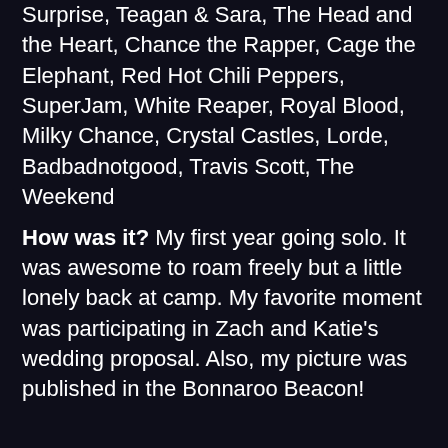Surprise, Teagan & Sara, The Head and the Heart, Chance the Rapper, Cage the Elephant, Red Hot Chili Peppers, SuperJam, White Reaper, Royal Blood, Milky Chance, Crystal Castles, Lorde, Badbadnotgood, Travis Scott, The Weekend
How was it? My first year going solo. It was awesome to roam freely but a little lonely back at camp. My favorite moment was participating in Zach and Katie's wedding proposal. Also, my picture was published in the Bonnaroo Beacon!
2018 | Wed - Thu - Fri - Sat - Sun - Mon
Acts I saw: Ron Gallo, Lissie, Justin Jay's Fantastic Voyage, Durand Jones & The Indications, Space Jesus, Pigeons Playing Ping Pong, Sheryl Crow, Manchester Orchestra, Paramore, The Revivalists, Sturgil Simpson,